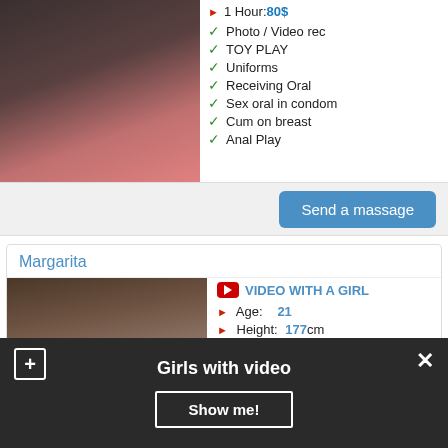[Figure (photo): Woman in red bikini posing]
1 Hour: 80$
Photo / Video rec
TOY PLAY
Uniforms
Receiving Oral
Sex oral in condom
Cum on breast
Anal Play
Send a massage
Margarita
[Figure (photo): Woman with dark hair, profile card photo]
VIDEO WITH A GIRL
Age: 21
Height: 177 cm
Weight: 48 kg
Girls with video
Show me!